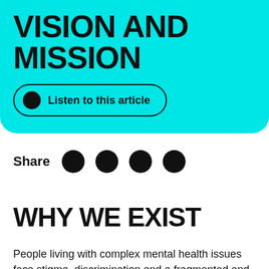VISION AND MISSION
Listen to this article
Share
WHY WE EXIST
People living with complex mental health issues face stigma, discrimination and a fragmented and